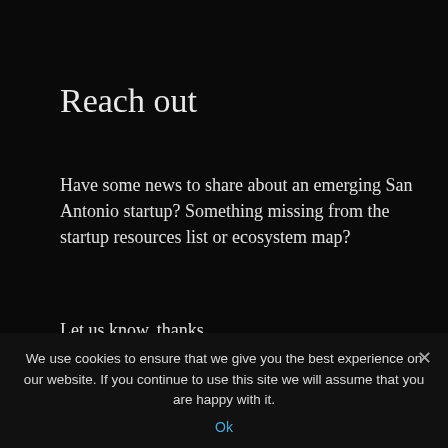Reach out
Have some news to share about an emerging San Antonio startup? Something missing from the startup resources list or ecosystem map?
Let us know, thanks.
Editor@StartupsSanAntonio.com
Write for Startups San Antonio
We use cookies to ensure that we give you the best experience on our website. If you continue to use this site we will assume that you are happy with it.
Ok